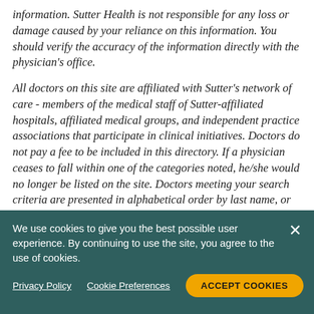information. Sutter Health is not responsible for any loss or damage caused by your reliance on this information. You should verify the accuracy of the information directly with the physician's office.
All doctors on this site are affiliated with Sutter's network of care - members of the medical staff of Sutter-affiliated hospitals, affiliated medical groups, and independent practice associations that participate in clinical initiatives. Doctors do not pay a fee to be included in this directory. If a physician ceases to fall within one of the categories noted, he/she would no longer be listed on the site. Doctors meeting your search criteria are presented in alphabetical order by last name, or by geographic proximity if a zip code has been used as
We use cookies to give you the best possible user experience. By continuing to use the site, you agree to the use of cookies.
Privacy Policy   Cookie Preferences   ACCEPT COOKIES